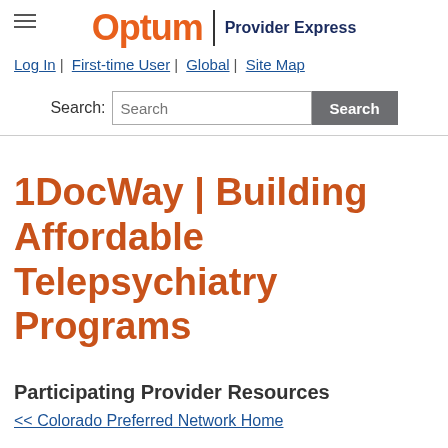Optum | Provider Express
Log In | First-time User | Global | Site Map
Search:
1DocWay | Building Affordable Telepsychiatry Programs
Participating Provider Resources
<< Colorado Preferred Network Home